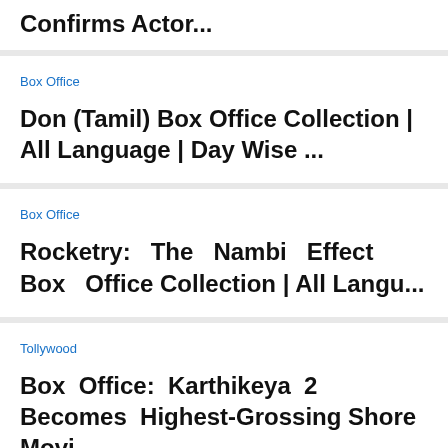Confirms Actor...
Box Office
Don (Tamil) Box Office Collection | All Language | Day Wise ...
Box Office
Rocketry: The Nambi Effect Box Office Collection | All Langu...
Tollywood
Box Office: Karthikeya 2 Becomes Highest-Grossing Shore Movi...